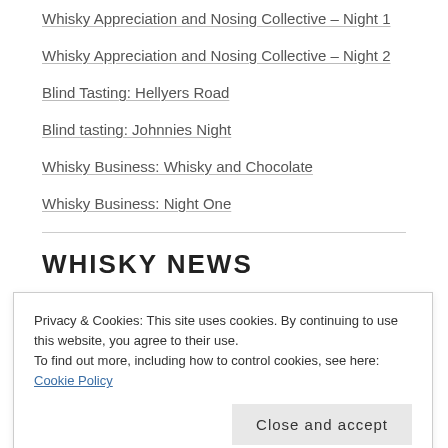Whisky Appreciation and Nosing Collective – Night 1
Whisky Appreciation and Nosing Collective – Night 2
Blind Tasting: Hellyers Road
Blind tasting: Johnnies Night
Whisky Business: Whisky and Chocolate
Whisky Business: Night One
WHISKY NEWS
The North Unites for Tasmanian Whisky Week
Privacy & Cookies: This site uses cookies. By continuing to use this website, you agree to their use.
To find out more, including how to control cookies, see here: Cookie Policy
Whisky Waffle host Christmas drinks at the Chapel